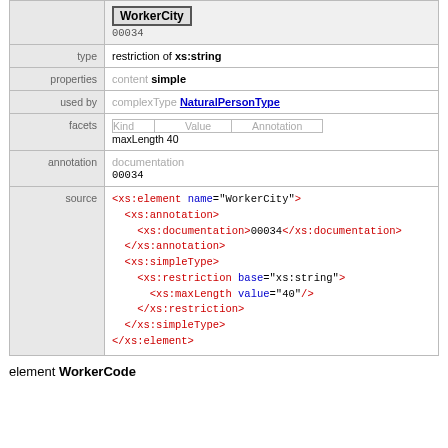|  | WorkerCity / 00034 |
| type | restriction of xs:string |
| properties | content simple |
| used by | complexType NaturalPersonType |
| facets | Kind   Value   Annotation
maxLength 40 |
| annotation | documentation
00034 |
| source | <xs:element name="WorkerCity">
  <xs:annotation>
    <xs:documentation>00034</xs:documentation>
  </xs:annotation>
  <xs:simpleType>
    <xs:restriction base="xs:string">
      <xs:maxLength value="40"/>
    </xs:restriction>
  </xs:simpleType>
</xs:element> |
element WorkerCode